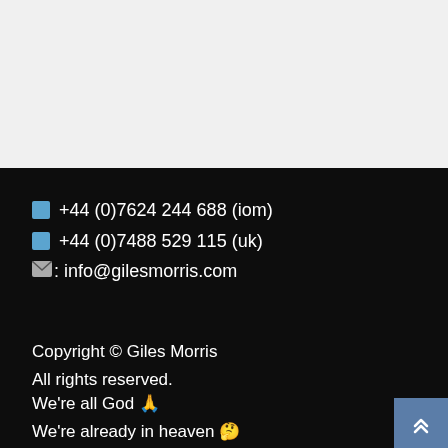📱 +44 (0)7624 244 688 (iom)
📱 +44 (0)7488 529 115 (uk)
✉: info@gilesmorris.com
Copyright © Giles Morris
All rights reserved.
We're all God 🙏
We're already in heaven 🤔
Wear your own crown👑